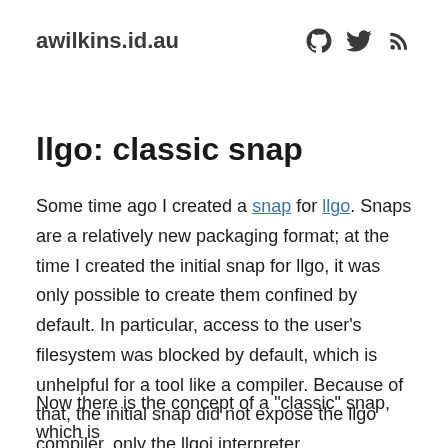awilkins.id.au
llgo: classic snap
Some time ago I created a snap for llgo. Snaps are a relatively new packaging format; at the time I created the initial snap for llgo, it was only possible to create them confined by default. In particular, access to the user’s filesystem was blocked by default, which is unhelpful for a tool like a compiler. Because of that, the initial snap did not expose the llgo compiler, only the llgoi interpreter.